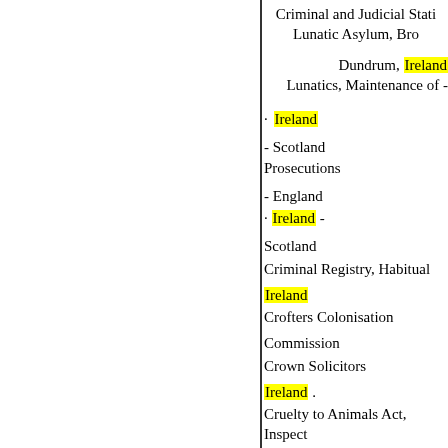Criminal and Judicial Stati Lunatic Asylum, Bro
Dundrum, Ireland Lunatics, Maintenance of -
· Ireland
- Scotland Prosecutions
- England
· Ireland -
Scotland
Criminal Registry, Habitual
Ireland
Crofters Colonisation
Commission
Crown Solicitors
Ireland .
Cruelty to Animals Act, Inspect under -
· England